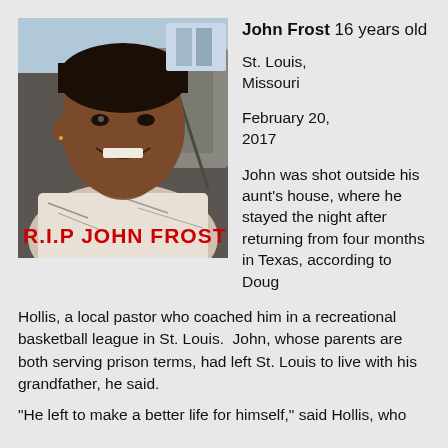[Figure (photo): Photo of John Frost, a young Black man smiling, seated in a car. Red text overlay reads 'R.I.P JOHN FROST'.]
John Frost  16 years old
St. Louis, Missouri
February 20, 2017
John was shot outside his aunt's house, where he stayed the night after returning from four months in Texas, according to Doug Hollis, a local pastor who coached him in a recreational basketball league in St. Louis.  John, whose parents are both serving prison terms, had left St. Louis to live with his grandfather, he said.
"He left to make a better life for himself," said Hollis, who